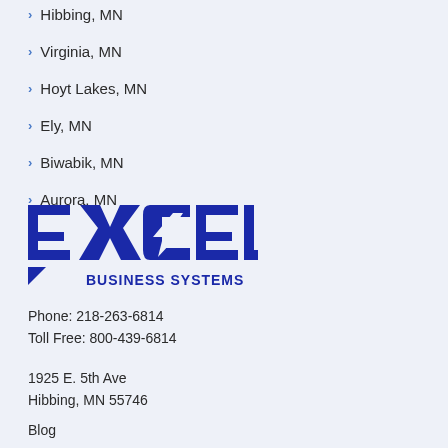Hibbing, MN
Virginia, MN
Hoyt Lakes, MN
Ely, MN
Biwabik, MN
Aurora, MN
[Figure (logo): Excel Business Systems logo in blue]
Phone: 218-263-6814
Toll Free: 800-439-6814
1925 E. 5th Ave
Hibbing, MN 55746
Blog